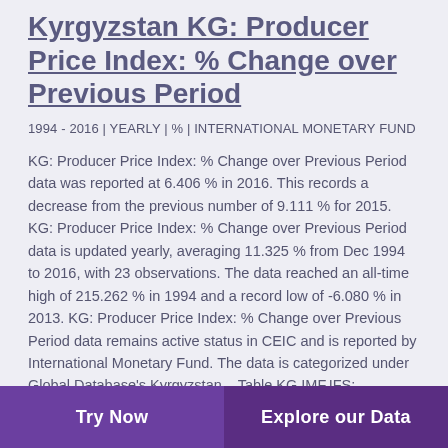Kyrgyzstan KG: Producer Price Index: % Change over Previous Period
1994 - 2016 | YEARLY | % | INTERNATIONAL MONETARY FUND
KG: Producer Price Index: % Change over Previous Period data was reported at 6.406 % in 2016. This records a decrease from the previous number of 9.111 % for 2015. KG: Producer Price Index: % Change over Previous Period data is updated yearly, averaging 11.325 % from Dec 1994 to 2016, with 23 observations. The data reached an all-time high of 215.262 % in 1994 and a record low of -6.080 % in 2013. KG: Producer Price Index: % Change over Previous Period data remains active status in CEIC and is reported by International Monetary Fund. The data is categorized under Global Database's Kyrgyzstan – Table KG.IMF.IFS: Consumer and Producer Price Index:
Try Now | Explore our Data